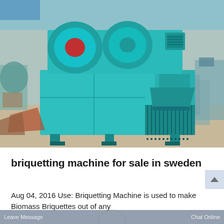[Figure (photo): A large teal/turquoise industrial briquetting machine photographed inside a factory or warehouse. The machine has two large rollers on top, a main rectangular body housing, and a ventilated lower section with vertical grating. It sits on legs/feet. The background shows a cluttered industrial workspace with other machinery and equipment.]
briquetting machine for sale in sweden
Aug 04, 2016 Use: Briquetting Machine is used to make Biomass Briquettes out of any